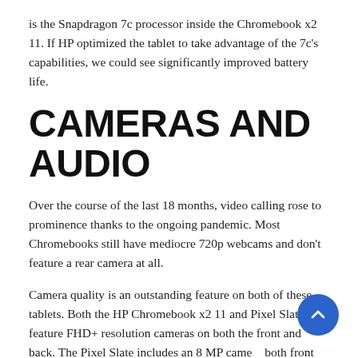is the Snapdragon 7c processor inside the Chromebook x2 11. If HP optimized the tablet to take advantage of the 7c's capabilities, we could see significantly improved battery life.
CAMERAS AND AUDIO
Over the course of the last 18 months, video calling rose to prominence thanks to the ongoing pandemic. Most Chromebooks still have mediocre 720p webcams and don't feature a rear camera at all.
Camera quality is an outstanding feature on both of these tablets. Both the HP Chromebook x2 11 and Pixel Slate feature FHD+ resolution cameras on both the front and back. The Pixel Slate includes an 8 MP camera both front and back, while the HP Chromebook x2 11 features an MP front camera and 8MP wide-angle...